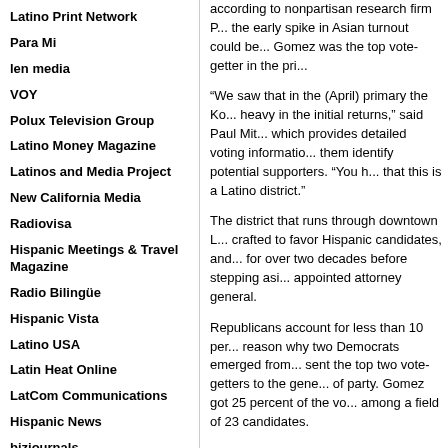Latino Print Network
Para Mi
len media
VOY
Polux Television Group
Latino Money Magazine
Latinos and Media Project
New California Media
Radiovisa
Hispanic Meetings & Travel Magazine
Radio Bilingüe
Hispanic Vista
Latino USA
Latin Heat Online
LatCom Communications
Hispanic News
bizjournals
according to nonpartisan research firm P... the early spike in Asian turnout could be... Gomez was the top vote-getter in the pri...
“We saw that in the (April) primary the Ko... heavy in the initial returns,” said Paul Mit... which provides detailed voting informatio... them identify potential supporters. “You h... that this is a Latino district.”
The district that runs through downtown L... crafted to favor Hispanic candidates, and... for over two decades before stepping asi... appointed attorney general.
Republicans account for less than 10 per... reason why two Democrats emerged from... sent the top two vote-getters to the gene... of party. Gomez got 25 percent of the vo... among a field of 23 candidates.
At a forum Thursday, Gomez emphasize... experience and widespread support with...